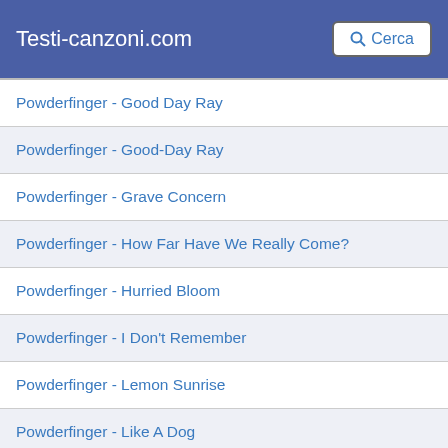Testi-canzoni.com  Cerca
Powderfinger - Good Day Ray
Powderfinger - Good-Day Ray
Powderfinger - Grave Concern
Powderfinger - How Far Have We Really Come?
Powderfinger - Hurried Bloom
Powderfinger - I Don't Remember
Powderfinger - Lemon Sunrise
Powderfinger - Like A Dog
Powderfinger - Living Type
Powderfinger - Lost And Running
Powderfinger - Love My Way